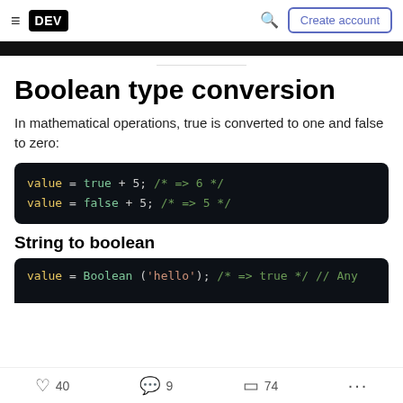DEV | Create account
[Figure (screenshot): Black navigation bar partial]
Boolean type conversion
In mathematical operations, true is converted to one and false to zero:
[Figure (screenshot): Code block: value = true + 5; /* => 6 */ and value = false + 5; /* => 5 */]
String to boolean
[Figure (screenshot): Partial code block: value = Boolean('hello'); /* => true */ // Any...]
40 reactions, 9 comments, 74 saves